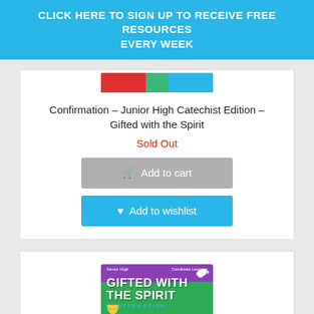CLICK HERE TO SIGN UP TO RECEIVE FREE RESOURCES EVERY WEEK
[Figure (screenshot): Partial top view of a book cover with red, green, and blue sections]
Confirmation – Junior High Catechist Edition – Gifted with the Spirit
Sold Out
[Figure (screenshot): Grayed-out Add to cart button with shopping cart icon]
[Figure (screenshot): Blue Add to wishlist button with heart icon]
[Figure (photo): Book cover for Gifted with the Spirit Confirmation, Senior High Candidate Lessons edition, with purple top, green middle, and blue bottom sections, white dove, and chalice illustration]